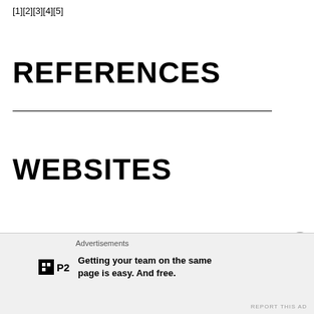[1][2][3][4][5]
REFERENCES
WEBSITES
[1] Basketball Ireland Comortais (2014) Men's National Shield
Advertisements
Getting your team on the same page is easy. And free.